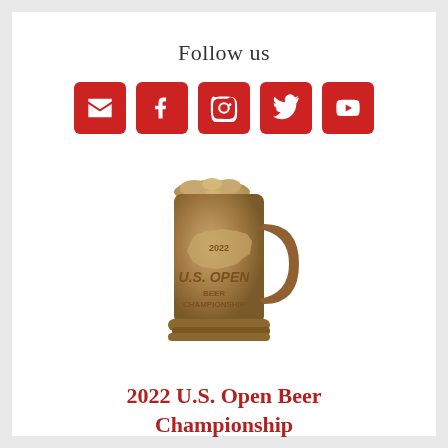Follow us
[Figure (infographic): Five red rounded-square social media icons in a row: email (envelope), Facebook (f), Instagram (camera), Twitter (bird), YouTube (play button)]
[Figure (photo): Bronze/gold beer mug medallion with '2022 U.S. Open Beer Championship' engraved, featuring a US map outline on the mug body.]
2022 U.S. Open Beer Championship